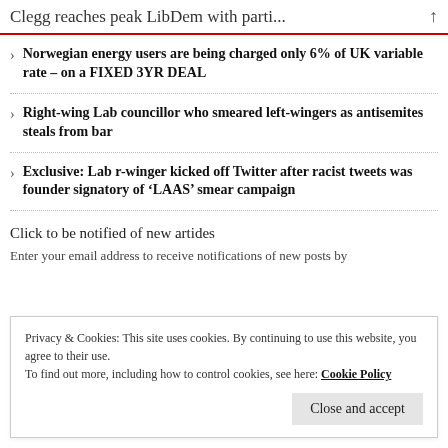Clegg reaches peak LibDem with parti...
Norwegian energy users are being charged only 6% of UK variable rate – on a FIXED 3YR DEAL
Right-wing Lab councillor who smeared left-wingers as antisemites steals from bar
Exclusive: Lab r-winger kicked off Twitter after racist tweets was founder signatory of 'LAAS' smear campaign
Click to be notified of new artides
Enter your email address to receive notifications of new posts by
Privacy & Cookies: This site uses cookies. By continuing to use this website, you agree to their use.
To find out more, including how to control cookies, see here: Cookie Policy
Close and accept